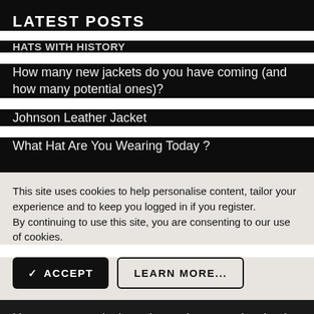LATEST POSTS
HATS WITH HISTORY
How many new jackets do you have coming (and how many potential ones)?
Johnson Leather Jacket
What Hat Are You Wearing Today ?
This site uses cookies to help personalise content, tailor your experience and to keep you logged in if you register.
By continuing to use this site, you are consenting to our use of cookies.
✓ ACCEPT   LEARN MORE...
How many new jackets do you have coming (and how many potential ones)?
Johnson Leather Jacket